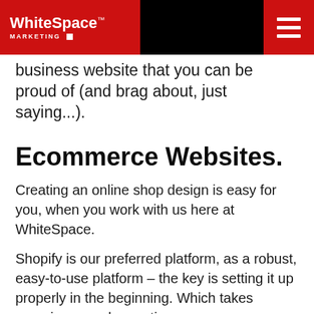WhiteSpace Marketing
business website that you can be proud of (and brag about, just saying...).
Ecommerce Websites.
Creating an online shop design is easy for you, when you work with us here at WhiteSpace.
Shopify is our preferred platform, as a robust, easy-to-use platform – the key is setting it up properly in the beginning. Which takes experience and expertise.
Because online shops are all about converting eyeballs into sales. That's actually all that matters.